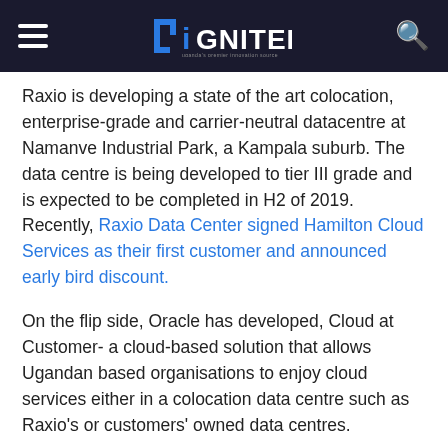DiGNITED
Raxio is developing a state of the art colocation, enterprise-grade and carrier-neutral datacentre at Namanve Industrial Park, a Kampala suburb. The data centre is being developed to tier III grade and is expected to be completed in H2 of 2019. Recently, Raxio Data Center signed Hamilton Cloud Services as their first customer and announced early bird discount.
On the flip side, Oracle has developed, Cloud at Customer- a cloud-based solution that allows Ugandan based organisations to enjoy cloud services either in a colocation data centre such as Raxio's or customers' owned data centres.
Twinemanzi advised that financial services should